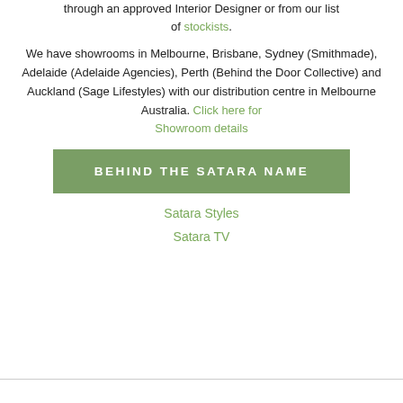through an approved Interior Designer or from our list of stockists.
We have showrooms in Melbourne, Brisbane, Sydney (Smithmade), Adelaide (Adelaide Agencies), Perth (Behind the Door Collective) and Auckland (Sage Lifestyles) with our distribution centre in Melbourne Australia. Click here for Showroom details
BEHIND THE SATARA NAME
Satara Styles
Satara TV